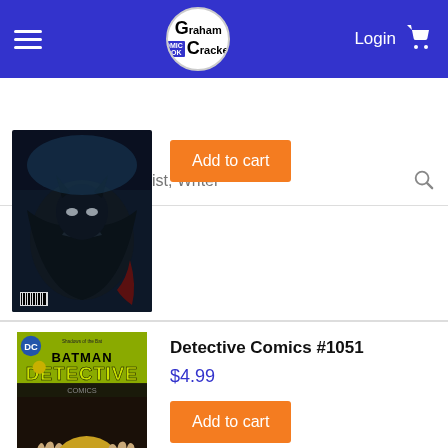Graham Crackers Comics — Login — Cart
Search for Title, Artist, Writer
[Figure (photo): Dark Batman comic book cover with armored Batman figure in dark tones]
Add to cart
[Figure (photo): Detective Comics #1051 cover showing Batman logo with yellow text and Psycho-Pirate character with gold mask and hands]
Detective Comics #1051
$4.99
Add to cart